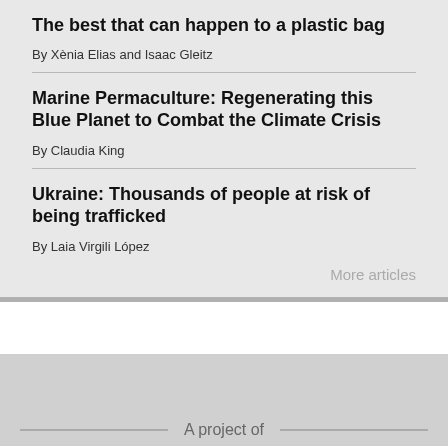The best that can happen to a plastic bag
By Xènia Elias and Isaac Gleitz
Marine Permaculture: Regenerating this Blue Planet to Combat the Climate Crisis
By Claudia King
Ukraine: Thousands of people at risk of being trafficked
By Laia Virgili López
More articles
A project of